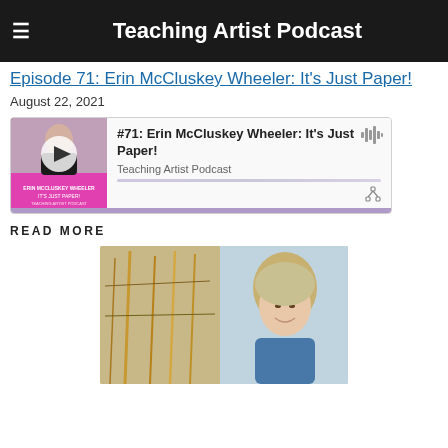Teaching Artist Podcast
Episode 71: Erin McCluskey Wheeler: It's Just Paper!
August 22, 2021
[Figure (screenshot): Podcast player embed showing episode #71: Erin McCluskey Wheeler: It's Just Paper! on Teaching Artist Podcast, with a thumbnail image of the artist on the left, play button, waveform icon, and share icon.]
READ MORE
[Figure (photo): A smiling woman with short blonde hair standing next to a large abstract painting with tree-like forms in warm golden and neutral tones.]